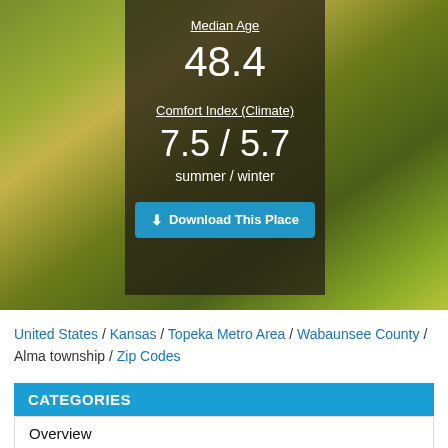[Figure (photo): Background photo of green agricultural field (wheat/grass) with dark overlay card showing Median Age 48.4 and Comfort Index 7.5 / 5.7 summer/winter, and a Download This Place button]
United States / Kansas / Topeka Metro Area / Wabaunsee County / Alma township / Zip Codes
CATEGORIES
Overview